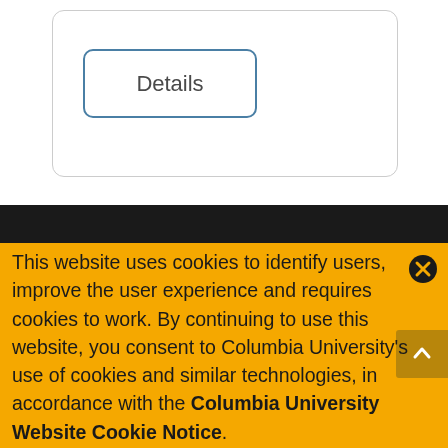[Figure (screenshot): Details button with rounded rectangle border in blue-gray color]
This website uses cookies to identify users, improve the user experience and requires cookies to work. By continuing to use this website, you consent to Columbia University's use of cookies and similar technologies, in accordance with the Columbia University Website Cookie Notice.